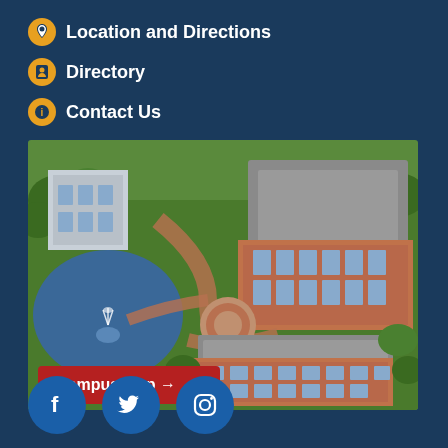Location and Directions
Directory
Contact Us
[Figure (illustration): Aerial 3D illustrated map of a college campus showing brick buildings, green lawns, walking paths, a pond with a fountain, and trees. A red button overlay reads 'Campus Map →'.]
[Figure (infographic): Three round social media icon buttons: Facebook (f), Twitter (bird), Instagram (camera outline), on a dark navy background.]